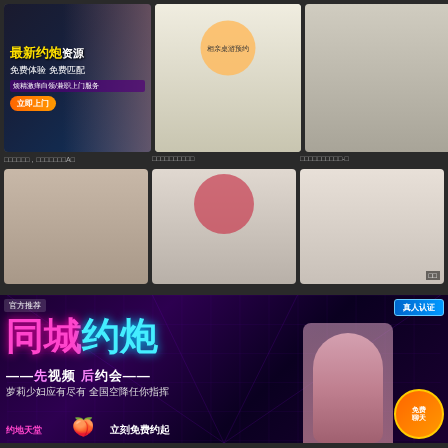[Figure (photo): Top row of three video thumbnails: first is an advertisement with Chinese text for dating services, second shows a person at a table, third shows explicit content]
□□□□□□，□□□□□□□A□   □□□□□□□□□□   □□□□□□□□□□-□
[Figure (photo): Bottom row of three video thumbnails showing adult content]
[Figure (advertisement): Banner advertisement in Chinese for local dating service: 同城约炮 - 先视频 后约会 - 萝莉少妇应有尽有 全国空降任你指挥 - 立刻免费约起 - 真人认证 - 免费聊天]